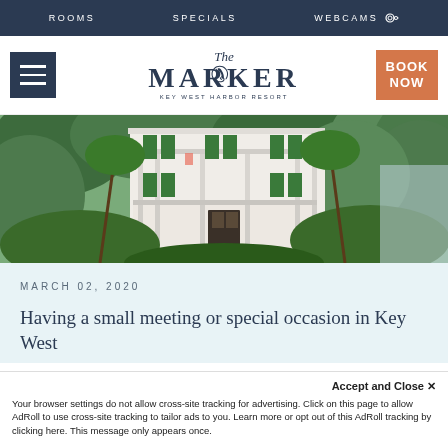ROOMS   SPECIALS   WEBCAMS
[Figure (logo): The Marker Key West Harbor Resort logo with hamburger menu, phone icon, and BOOK NOW button]
[Figure (photo): Exterior photo of The Marker Key West Harbor Resort showing a white colonial-style building with green shutters surrounded by tropical foliage]
MARCH 02, 2020
Having a small meeting or special occasion in Key West
Accept and Close ✕
Your browser settings do not allow cross-site tracking for advertising. Click on this page to allow AdRoll to use cross-site tracking to tailor ads to you. Learn more or opt out of this AdRoll tracking by clicking here. This message only appears once.